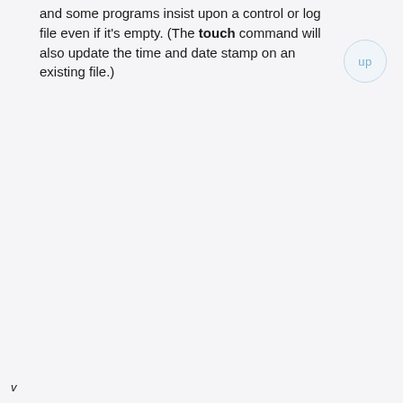and some programs insist upon a control or log file even if it's empty. (The touch command will also update the time and date stamp on an existing file.)
up
v